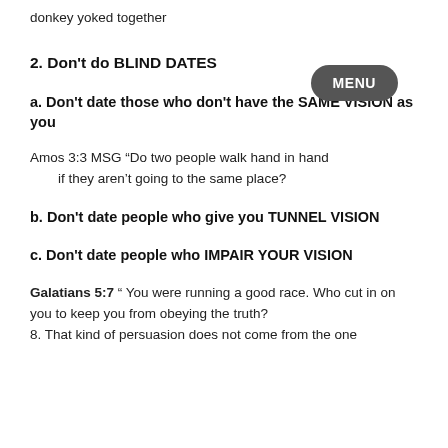donkey yoked together
2. Don't do BLIND DATES
a. Don't date those who don't have the SAME VISION as you
Amos 3:3 MSG “Do two people walk hand in hand if they aren’t going to the same place?
b. Don't date people who give you TUNNEL VISION
c. Don't date people who IMPAIR YOUR VISION
Galatians 5:7 “ You were running a good race. Who cut in on you to keep you from obeying the truth? 8. That kind of persuasion does not come from the one